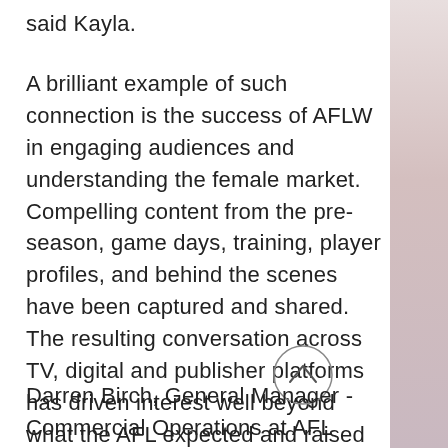said Kayla.
A brilliant example of such connection is the success of AFLW in engaging audiences and understanding the female market. Compelling content from the pre-season, game days, training, player profiles, and behind the scenes have been captured and shared. The resulting conversation across TV, digital and publisher platforms has driven interest well beyond what the AFL expected and raised the bar for all sports.
Darren Birch, General Manager - Commercial Operations at AFL highlighted how AFL needed to step back and bring in new expertise for